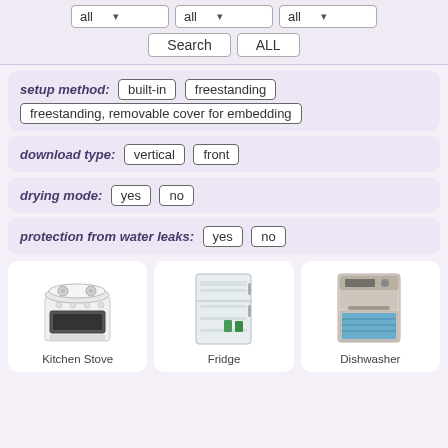[Figure (screenshot): Top filter bar with three dropdown menus each labeled 'all', plus Search and ALL buttons]
setup method: built-in  freestanding  freestanding, removable cover for embedding
download type: vertical  front
drying mode: yes  no
protection from water leaks: yes  no
[Figure (illustration): Kitchen Stove appliance card with illustration]
[Figure (illustration): Fridge appliance card with illustration]
[Figure (illustration): Dishwasher appliance card with illustration]